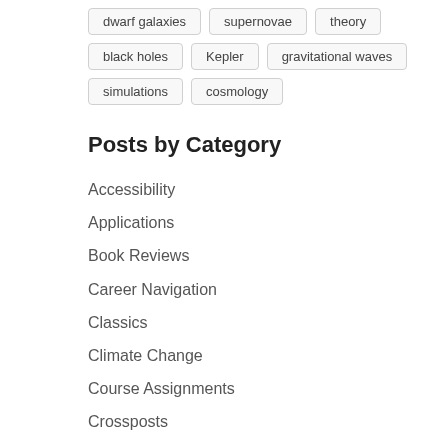dwarf galaxies
supernovae
theory
black holes
Kepler
gravitational waves
simulations
cosmology
Posts by Category
Accessibility
Applications
Book Reviews
Career Navigation
Classics
Climate Change
Course Assignments
Crossposts
Current Events
Daily Paper Summaries